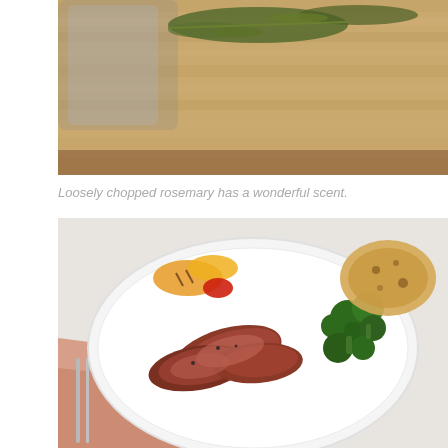[Figure (photo): Close-up photo of loosely chopped rosemary on a wooden cutting board with a kitchen utensil visible]
Loosely chopped rosemary has a wonderful scent.
[Figure (photo): A plate of sliced steak with broccoli, grilled peppers, and a piece of toasted bread, served on a white plate with silverware and a salmon-colored napkin]